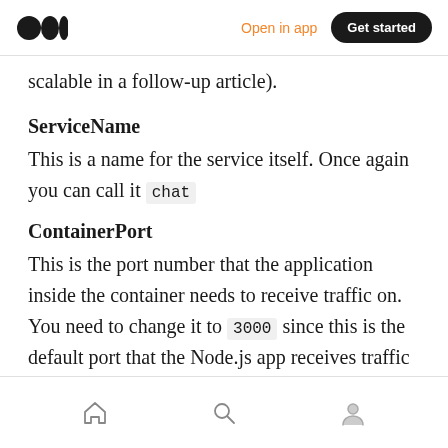Open in app  Get started
scalable in a follow-up article).
ServiceName
This is a name for the service itself. Once again you can call it chat
ContainerPort
This is the port number that the application inside the container needs to receive traffic on. You need to change it to 3000 since this is the default port that the Node.js app receives traffic on.
home search profile